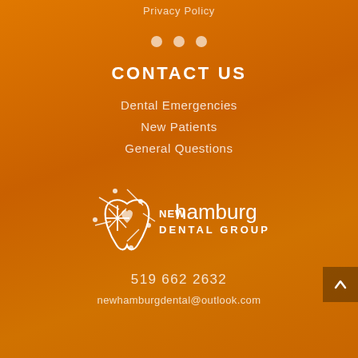Privacy Policy
[Figure (other): Three decorative dots used as a visual separator]
CONTACT US
Dental Emergencies
New Patients
General Questions
[Figure (logo): New Hamburg Dental Group logo — stylized tooth with orbit lines and text 'NEWhamburg DENTAL GROUP' in white]
519 662 2632
newhamburgdental@outlook.com